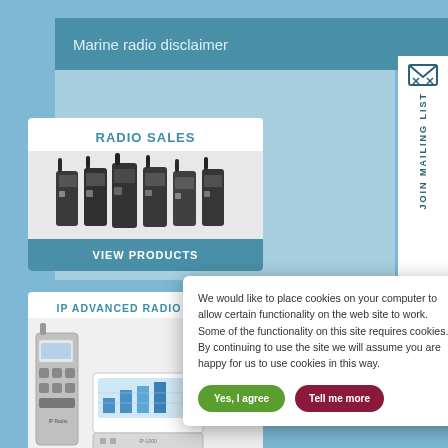Marine radio disclaimer
[Figure (illustration): JOIN MAILING LIST vertical button with envelope icon on right side]
RADIO SALES
[Figure (photo): Several handheld walkie-talkie radios lined up]
VIEW PRODUCTS
IP ADVANCED RADIO SYSTEM
[Figure (photo): Handheld radio and network equipment for IP advanced radio system]
We would like to place cookies on your computer to allow certain functionality on the web site to work. Some of the functionality on this site requires cookies. By continuing to use the site we will assume you are happy for us to use cookies in this way.
Yes, I agree
Tell me more